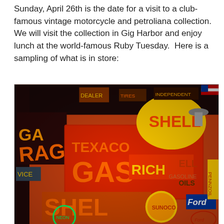Sunday, April 26th is the date for a visit to a club-famous vintage motorcycle and petroliana collection.  We will visit the collection in Gig Harbor and enjoy lunch at the world-famous Ruby Tuesday.  Here is a sampling of what is in store:
[Figure (photo): A colorful collection of vintage petroliana signs including neon and painted signs for Texaco Gas, Shell, Richfield, Ford, and other automotive/oil brands displayed on walls and ceiling.]
Privacy & Cookies: This site uses cookies. By continuing to use this website, you agree to their use.
To find out more, including how to control cookies, see here: Cookie Policy
Close and accept